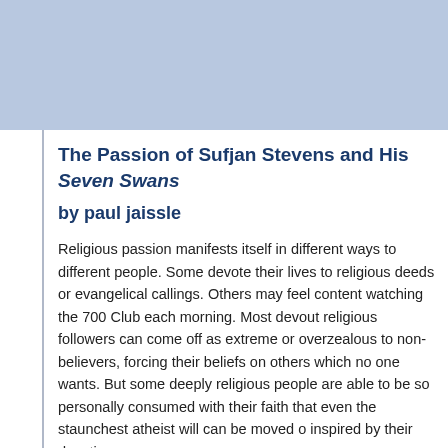The Passion of Sufjan Stevens and His Seven Swans
by paul jaissle
Religious passion manifests itself in different ways to different people. Some devote their lives to religious deeds or evangelical callings. Others may feel content watching the 700 Club each morning. Most devout religious followers can come off as extreme or overzealous to non-believers, forcing their beliefs on others which no one wants. But some deeply religious people are able to be so personally consumed with their faith that even the staunchest atheist will can be moved or inspired by their devotion.
This also applies to christian art. Christian “rock” has always been a bit of an embarassing movement: acts 5